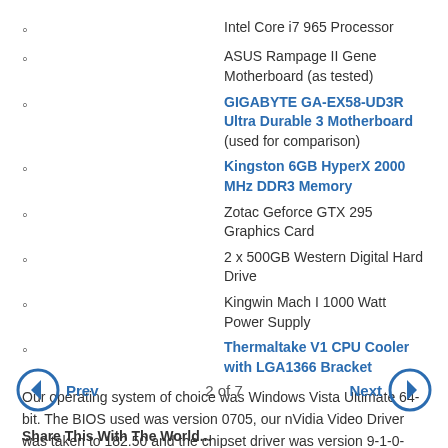Intel Core i7 965 Processor
ASUS Rampage II Gene Motherboard (as tested)
GIGABYTE GA-EX58-UD3R Ultra Durable 3 Motherboard (used for comparison)
Kingston 6GB HyperX 2000 MHz DDR3 Memory
Zotac Geforce GTX 295 Graphics Card
2 x 500GB Western Digital Hard Drive
Kingwin Mach I 1000 Watt Power Supply
Thermaltake V1 CPU Cooler with LGA1366 Bracket
Our operating system of choice was Windows Vista Ultimate 64-bit. The BIOS used was version 0705, our nVidia Video Driver was taken to 182.50 and the chipset driver was version 9-1-0-1007. Video card settings were left at default Settings with VSync disabled.
Prev  2 of 7  Next